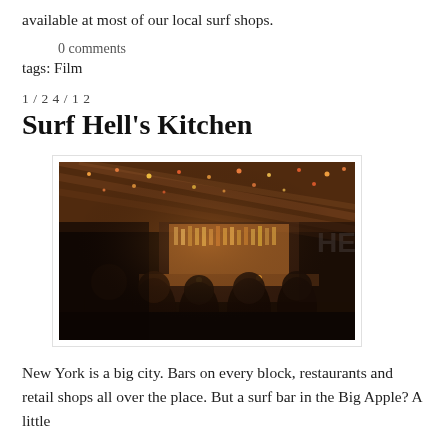available at most of our local surf shops.
0 comments
tags: Film
1 / 2 4 / 1 2
Surf Hell's Kitchen
[Figure (photo): Interior of a dark bar/restaurant with warm amber lighting, string lights on the ceiling, people sitting at a bar, bottles behind the bar, intimate nighttime atmosphere.]
New York is a big city. Bars on every block, restaurants and retail shops all over the place. But a surf bar in the Big Apple? A little